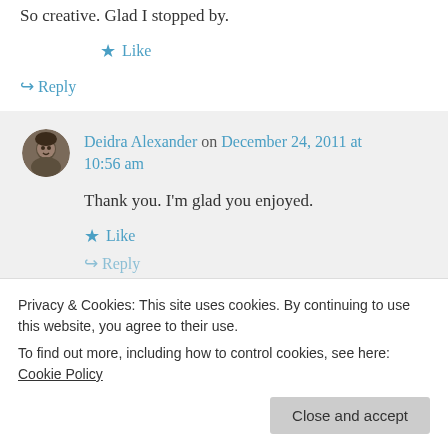So creative. Glad I stopped by.
★ Like
↪ Reply
Deidra Alexander on December 24, 2011 at 10:56 am
Thank you. I'm glad you enjoyed.
★ Like
↪ Reply
Privacy & Cookies: This site uses cookies. By continuing to use this website, you agree to their use.
To find out more, including how to control cookies, see here: Cookie Policy
Close and accept
lighten up a bit around Christmas. Usually I write